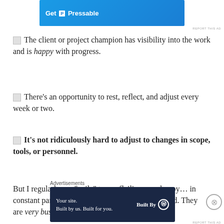[Figure (other): Blue advertisement banner for Pressable web hosting with white text 'Get P Pressable' and a figure of a person]
The client or project champion has visibility into the work and is happy with progress.
There's an opportunity to rest, reflect, and adjust every week or two.
It's not ridiculously hard to adjust to changes in scope, tools, or personnel.
But I regularly see “agile” teams flailing… unhappy… in constant panic mode, with stress that just won’t end. They are very busy and always seem to be scrambling to
[Figure (other): Dark navy blue advertisement banner for WordPress Built By service with text 'Your site. Built by us. Built for you.' and Built By WordPress logo]